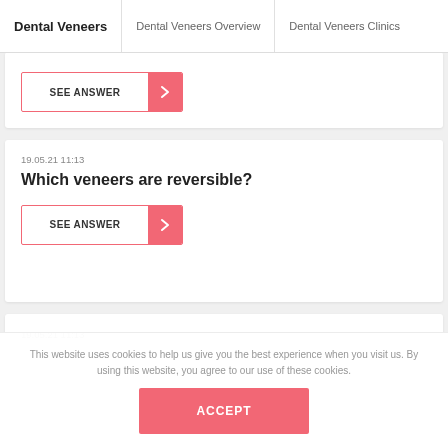Dental Veneers | Dental Veneers Overview | Dental Veneers Clinics
[Figure (screenshot): Partial card with SEE ANSWER button at top]
19.05.21 11:13
Which veneers are reversible?
[Figure (screenshot): SEE ANSWER button with pink arrow icon]
19.05.21 11:13
This website uses cookies to help us give you the best experience when you visit us. By using this website, you agree to our use of these cookies.